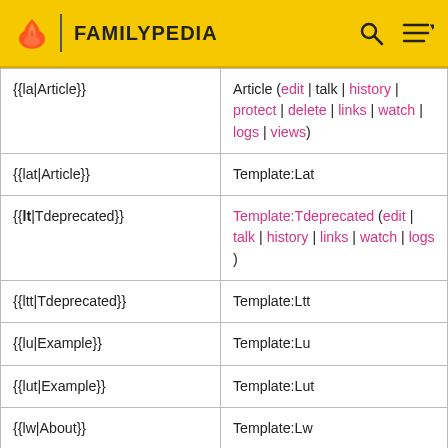FAMILYPEDIA
| Template syntax | Result |
| --- | --- |
| {{la|Article}} | Article (edit | talk | history | protect | delete | links | watch | logs | views) |
| {{lat|Article}} | Template:Lat |
| {{lt|Tdeprecated}} | Template:Tdeprecated (edit | talk | history | links | watch | logs) |
| {{ltt|Tdeprecated}} | Template:Ltt |
| {{lu|Example}} | Template:Lu |
| {{lut|Example}} | Template:Lut |
| {{lw|About}} | Template:Lw |
| {{lwt|About}} | Template:Lwt |